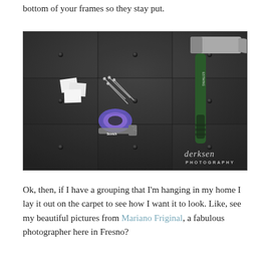bottom of your frames so they stay put.
[Figure (photo): Photo of tools on dark tufted leather surface: a hammer, Scotch tape dispenser, small nails, and white paper pieces. Derksen Photography watermark in bottom right.]
Ok, then, if I have a grouping that I'm hanging in my home I lay it out on the carpet to see how I want it to look. Like, see my beautiful pictures from Mariano Friginal, a fabulous photographer here in Fresno?